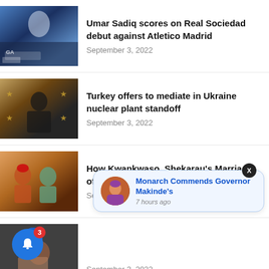[Figure (photo): Soccer player in blue and white uniform during a match]
Umar Sadiq scores on Real Sociedad debut against Atletico Madrid
September 3, 2022
[Figure (photo): Man in dark suit speaking at podium with star decorations in background]
Turkey offers to mediate in Ukraine nuclear plant standoff
September 3, 2022
[Figure (photo): Two men in traditional Nigerian attire seated together]
How Kwankwaso, Shekarau's Marriage of Convenience Collapsed
September 3, 2022
[Figure (photo): Woman in colorful attire with hands raised]
[Figure (photo): Notification popup showing a man in agbada with text: Monarch Commends Governor Makinde's, 7 hours ago]
September 3, 2022